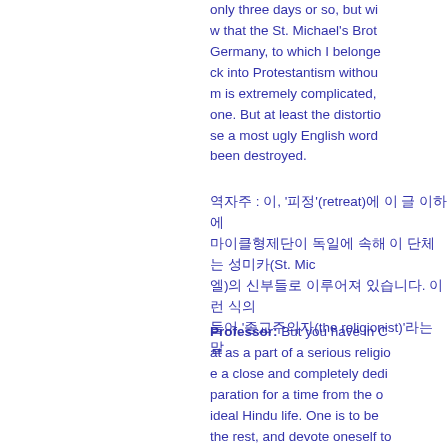only three days or so, but wi... w that the St. Michael's Broth... Germany, to which I belonged... ck into Protestantism without... m is extremely complicated, a... one. But at least the distortio... se a most ugly English word ... been destroyed.
역자주 : 이, '피정'(retreat)에 관한 이 글 이하에... 마이클형제단이 독일에 속해 있는 이 단체는 성미카엘(St. Mic... 엘)의 신부들로 이루어져 있습니다. 이런 식의 일탈 행위는 어 ... 들어 '종교주의자(the religionist)'라는 말 도 사...
Professor: But you have in C... at as a part of a serious religio... e a close and completely dedi... paration for a time from the o... ideal Hindu life. One is to be... the rest, and devote oneself to... Catholic world. If retreats are...